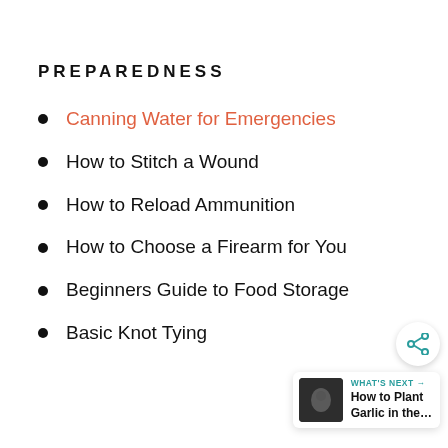PREPAREDNESS
Canning Water for Emergencies
How to Stitch a Wound
How to Reload Ammunition
How to Choose a Firearm for You
Beginners Guide to Food Storage
Basic Knot Tying
[Figure (other): Share button icon (circular white button with share/connect icon in teal)]
WHAT'S NEXT → How to Plant Garlic in the...